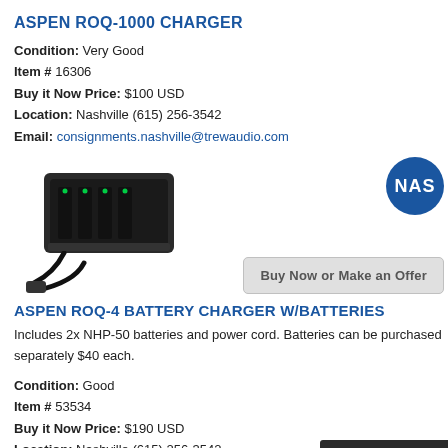ASPEN ROQ-1000 CHARGER
Condition: Very Good
Item # 16306
Buy it Now Price: $100 USD
Location: Nashville (615) 256-3542
Email: consignments.nashville@trewaudio.com
[Figure (photo): Photo of Aspen ROQ-1000 charger device with power cord]
ASPEN ROQ-4 BATTERY CHARGER W/BATTERIES
Includes 2x NHP-50 batteries and power cord. Batteries can be purchased separately $40 each.
Condition: Good
Item # 53534
Buy it Now Price: $190 USD
Location: Nashville (615) 256-3542
Email: consignments.nashville@trewaudio.com